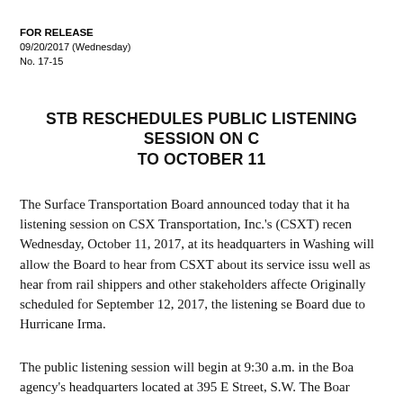FOR RELEASE
09/20/2017 (Wednesday)
No. 17-15
STB RESCHEDULES PUBLIC LISTENING SESSION ON C… TO OCTOBER 11
The Surface Transportation Board announced today that it ha… listening session on CSX Transportation, Inc.'s (CSXT) recen… Wednesday, October 11, 2017, at its headquarters in Washing… will allow the Board to hear from CSXT about its service issu… well as hear from rail shippers and other stakeholders affecte… Originally scheduled for September 12, 2017, the listening se… Board due to Hurricane Irma.
The public listening session will begin at 9:30 a.m. in the Boa… agency's headquarters located at 395 E Street, S.W. The Boar…